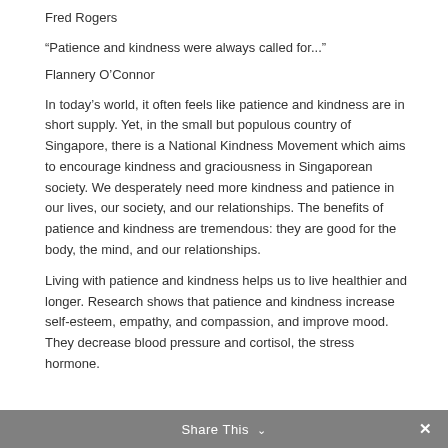Fred Rogers
“Patience and kindness were always called for...”
Flannery O’Connor
In today’s world, it often feels like patience and kindness are in short supply. Yet, in the small but populous country of Singapore, there is a National Kindness Movement which aims to encourage kindness and graciousness in Singaporean society. We desperately need more kindness and patience in our lives, our society, and our relationships. The benefits of patience and kindness are tremendous: they are good for the body, the mind, and our relationships.
Living with patience and kindness helps us to live healthier and longer. Research shows that patience and kindness increase self-esteem, empathy, and compassion, and improve mood. They decrease blood pressure and cortisol, the stress hormone.
Share This